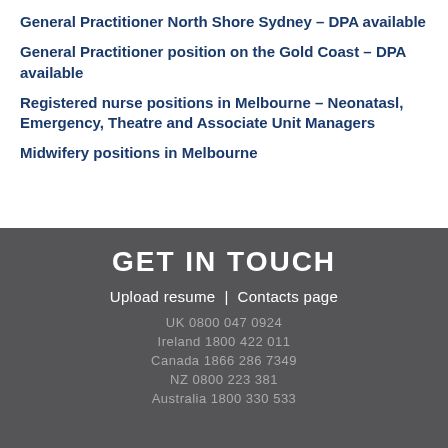General Practitioner North Shore Sydney – DPA available
General Practitioner position on the Gold Coast – DPA available
Registered nurse positions in Melbourne – Neonatasl, Emergency, Theatre and Associate Unit Managers
Midwifery positions in Melbourne
GET IN TOUCH
Upload resume  |  Contacts page
UK 0800 047 0924
Ireland 1800 422 011
Canada 1866 286 7349
NZ 0800 223 381
Australia 1800 330 533